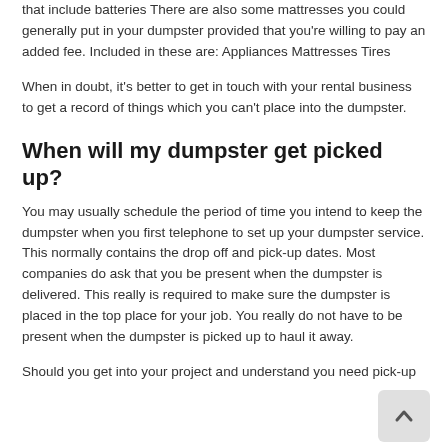that include batteries There are also some mattresses you could generally put in your dumpster provided that you're willing to pay an added fee. Included in these are: Appliances Mattresses Tires
When in doubt, it's better to get in touch with your rental business to get a record of things which you can't place into the dumpster.
When will my dumpster get picked up?
You may usually schedule the period of time you intend to keep the dumpster when you first telephone to set up your dumpster service. This normally contains the drop off and pick-up dates. Most companies do ask that you be present when the dumpster is delivered. This really is required to make sure the dumpster is placed in the top place for your job. You really do not have to be present when the dumpster is picked up to haul it away.
Should you get into your project and understand you need pick-up